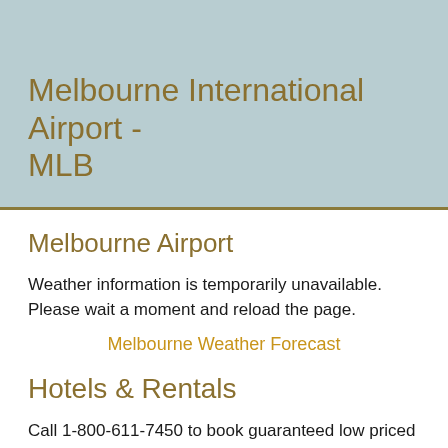Melbourne International Airport - MLB
Melbourne Airport
Weather information is temporarily unavailable. Please wait a moment and reload the page.
Melbourne Weather Forecast
Hotels & Rentals
Call 1-800-611-7450 to book guaranteed low priced hotels or click below for online rates and reservations